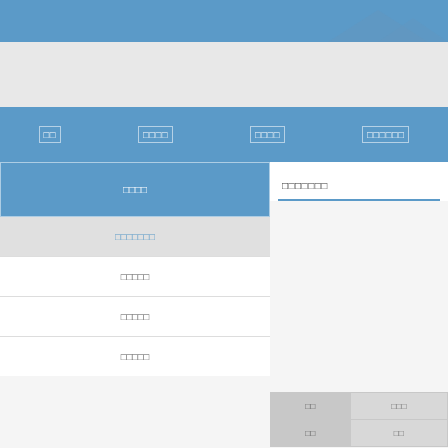[Figure (illustration): Blue banner with mountain silhouette in background]
□□  □□□□  □□□□  □□□□□□
□□□□
□□□□□□□
□□□□□
□□□□□
□□□□□
□□□□□□□
| □□ | □□□ |
| --- | --- |
| □□ | □□□ |
| □□ | □□ |